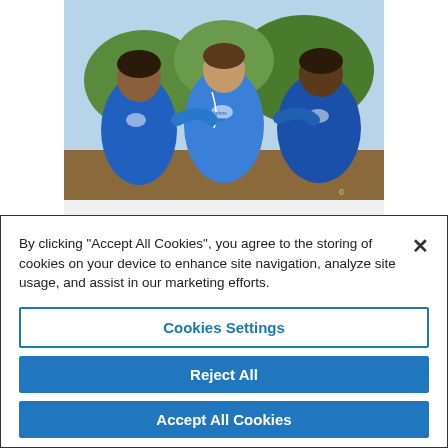[Figure (photo): Three people wearing blue Pilgrims Hospices branded t-shirts, posing together outdoors at a summer fair event.]
Pilgrims Hospices Summer Fair beats the heat!
By clicking “Accept All Cookies”, you agree to the storing of cookies on your device to enhance site navigation, analyze site usage, and assist in our marketing efforts.
Cookies Settings
Reject All
Accept All Cookies